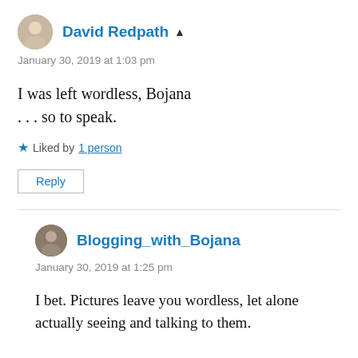David Redpath
January 30, 2019 at 1:03 pm
I was left wordless, Bojana
. . . so to speak.
Liked by 1 person
Reply
Blogging_with_Bojana
January 30, 2019 at 1:25 pm
I bet. Pictures leave you wordless, let alone actually seeing and talking to them.